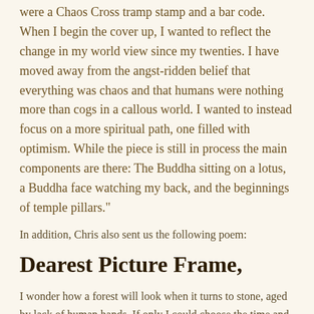were a Chaos Cross tramp stamp and a bar code. When I begin the cover up, I wanted to reflect the change in my world view since my twenties. I have moved away from the angst-ridden belief that everything was chaos and that humans were nothing more than cogs in a callous world. I wanted to instead focus on a more spiritual path, one filled with optimism. While the piece is still in process the main components are there: The Buddha sitting on a lotus, a Buddha face watching my back, and the beginnings of temple pillars."
In addition, Chris also sent us the following poem:
Dearest Picture Frame,
I wonder how a forest will look when it turns to stone, aged by lack of human hands. If only I could choose the time and day, I become petrified flesh. Perhaps it is better to molt a trail of discarded pasts behind. Frame them a pinned anthropology of